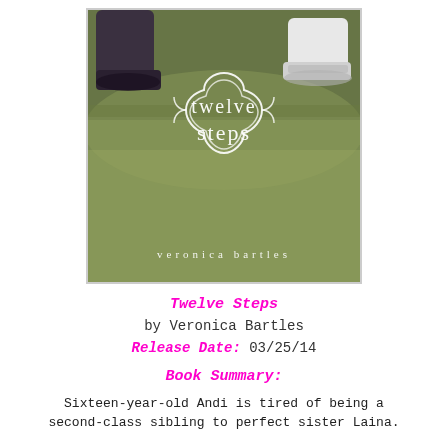[Figure (photo): Book cover for 'Twelve Steps' by Veronica Bartles showing two pairs of feet/shoes on grass with a decorative white badge frame overlay and the title and author name in white text.]
Twelve Steps
by Veronica Bartles
Release Date: 03/25/14
Book Summary:
Sixteen-year-old Andi is tired of being a second-class sibling to perfect sister Laina.